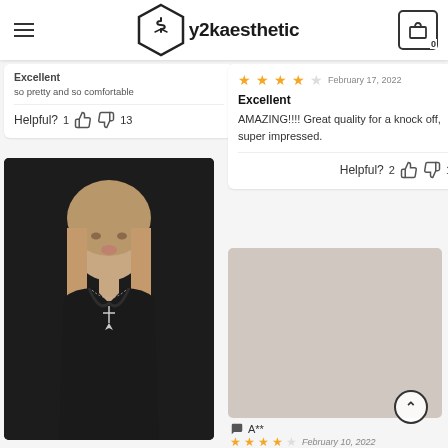y2kaesthetic — navbar with hamburger, logo, and cart icon showing 0
Excellent
so pretty and so comfortable
Helpful? 1 👍 👎 13
[Figure (photo): Young woman with light brown hair wearing a black lace spaghetti-strap top with a cross necklace, dark background selfie]
★★★★☆ February 17, 2022
Excellent
AMAZING!!!! Great quality for a knock off, super impressed.
Helpful? 2 👍 👎 1
[Figure (photo): Person in mirror selfie wearing white spaghetti strap bralette top and black pants, holding phone with red case, indoor setting]
A**
February 10, 2022